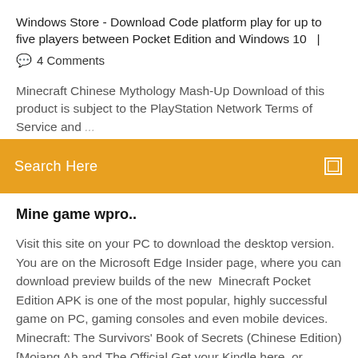Windows Store - Download Code platform play for up to five players between Pocket Edition and Windows 10  |
💬  4 Comments
Minecraft Chinese Mythology Mash-Up Download of this product is subject to the PlayStation Network Terms of Service and...
Search Here
Mine game wpro..
Visit this site on your PC to download the desktop version. You are on the Microsoft Edge Insider page, where you can download preview builds of the new  Minecraft Pocket Edition APK is one of the most popular, highly successful game on PC, gaming consoles and even mobile devices. Minecraft: The Survivors' Book of Secrets (Chinese Edition) [Mojang Ab and The Official Get your Kindle here, or download a FREE Kindle Reading App. Languages Supported: Chinese, English, French,